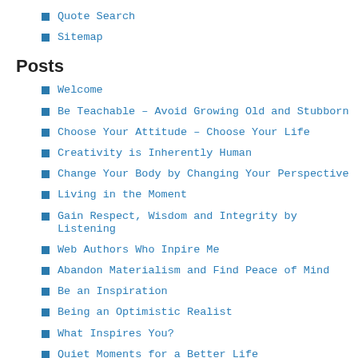Quote Search
Sitemap
Posts
Welcome
Be Teachable – Avoid Growing Old and Stubborn
Choose Your Attitude – Choose Your Life
Creativity is Inherently Human
Change Your Body by Changing Your Perspective
Living in the Moment
Gain Respect, Wisdom and Integrity by Listening
Web Authors Who Inpire Me
Abandon Materialism and Find Peace of Mind
Be an Inspiration
Being an Optimistic Realist
What Inspires You?
Quiet Moments for a Better Life
7 Ways to be Inspired When Surrounded by Negativity